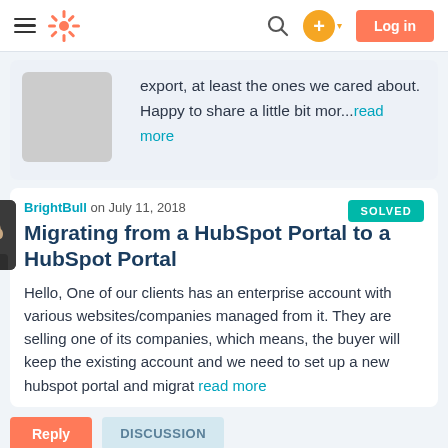HubSpot Community navigation bar with hamburger menu, HubSpot logo, search icon, plus button, and Log in button
export, at least the ones we cared about. Happy to share a little bit mor...read more
BrightBull on July 11, 2018
Migrating from a HubSpot Portal to a HubSpot Portal
Hello, One of our clients has an enterprise account with various websites/companies managed from it. They are selling one of its companies, which means, the buyer will keep the existing account and we need to set up a new hubspot portal and migrat read more
Reply  DISCUSSION